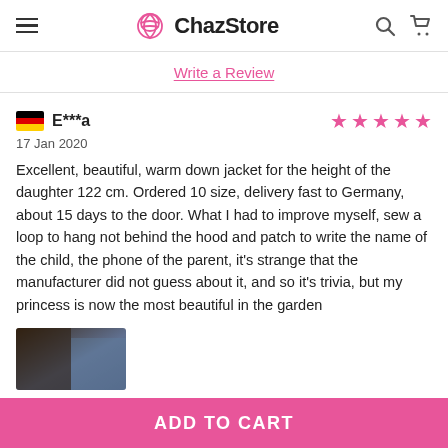ChazStore
Write a Review
E***a — 17 Jan 2020 — 5 stars
Excellent, beautiful, warm down jacket for the height of the daughter 122 cm. Ordered 10 size, delivery fast to Germany, about 15 days to the door. What I had to improve myself, sew a loop to hang not behind the hood and patch to write the name of the child, the phone of the parent, it's strange that the manufacturer did not guess about it, and so it's trivia, but my princess is now the most beautiful in the garden
[Figure (photo): Partial photo of a child wearing a down jacket]
ADD TO CART